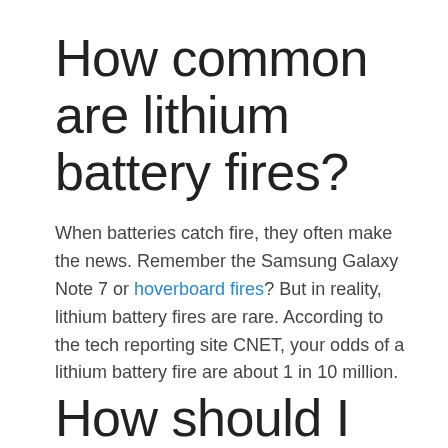How common are lithium battery fires?
When batteries catch fire, they often make the news. Remember the Samsung Galaxy Note 7 or hoverboard fires? But in reality, lithium battery fires are rare. According to the tech reporting site CNET, your odds of a lithium battery fire are about 1 in 10 million.
How should I dispose